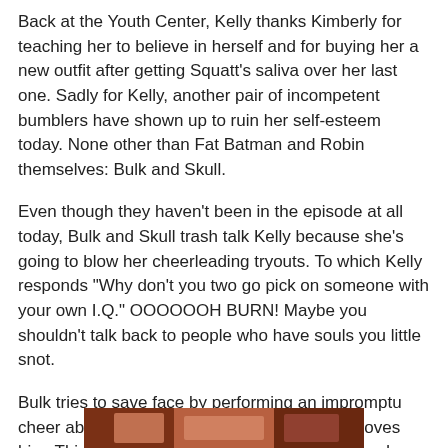Back at the Youth Center, Kelly thanks Kimberly for teaching her to believe in herself and for buying her a new outfit after getting Squatt's saliva over her last one. Sadly for Kelly, another pair of incompetent bumblers have shown up to ruin her self-esteem today. None other than Fat Batman and Robin themselves: Bulk and Skull.
Even though they haven't been in the episode at all today, Bulk and Skull trash talk Kelly because she's going to blow her cheerleading tryouts. To which Kelly responds "Why don't you two go pick on someone with your own I.Q." OOOOOOH BURN! Maybe you shouldn't talk back to people who have souls you little snot.
Bulk tries to save face by performing an impromptu cheer about how he's amazing and everyone loves him. This culminates in Bulk ripping his pants and humiliating himself in front of a bunch of people who hate him. But it doesn't matter, because we start to pan down and I know what's coming next. Let's set those piggies free and unlea-
[Figure (photo): Partial image strip at the bottom of the page, showing a cropped photo.]